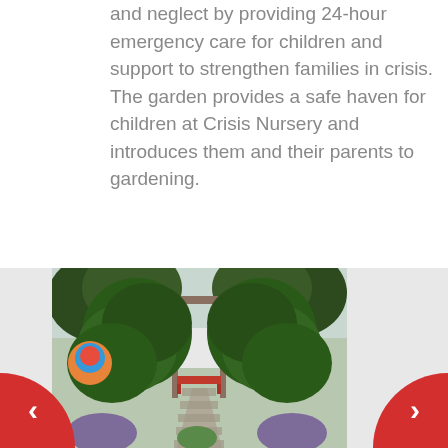and neglect by providing 24-hour emergency care for children and support to strengthen families in crisis. The garden provides a safe haven for children at Crisis Nursery and introduces them and their parents to gardening.
[Figure (photo): A garden pathway with lush green plants and vines forming an archway, leading to a red bench. White fence in background. A colorful decorative element visible on the left side.]